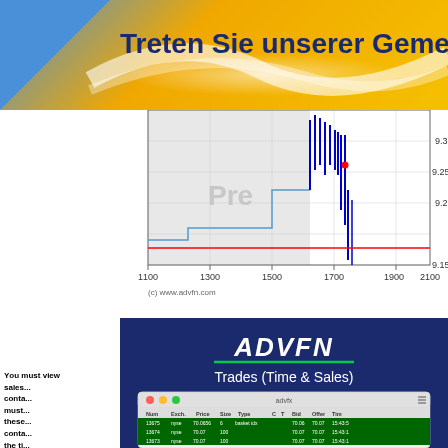[Figure (screenshot): Page header banner with yellow/gold gradient and blue triangle on left, text 'Treten Sie unserer Gemeinschaft...' in dark blue]
[Figure (continuous-plot): Stock price chart showing price movement around 9.15-9.3 range, x-axis from 1100 to 2100, with 'Pre' watermark, blue candlestick/tick marks around 1600-1700, red horizontal line near 9.15, red dot at ~1700. Copyright (c) www.advfn.com]
[Figure (screenshot): ADVFN Trades (Time & Sales) panel showing dark blue header with ADVFN logo and 'Trades (Time & Sales)' subtitle, and a macOS window screenshot below showing a trades table with columns Num, Exch., Price, Size, Type, C, T, Bid, Offer, Time and rows with NYSE data around 70.07 price]
You must... sales... contain... must... these... contain... the time... that t... that t... any t...